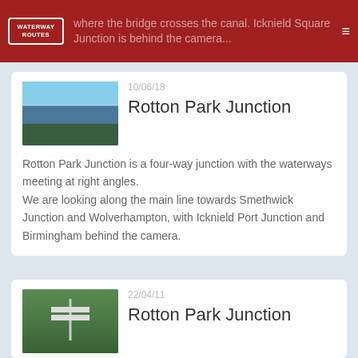where the bridge crosses the canal. Icknield Square Junction is behind the camera...
10/06/18
Rotton Park Junction
Rotton Park Junction is a four-way junction with the waterways meeting at right angles. We are looking along the main line towards Smethwick Junction and Wolverhampton, with Icknield Port Junction and Birmingham behind the camera.
22/04/11
Rotton Park Junction
The four-way signpost marks Rotton Park